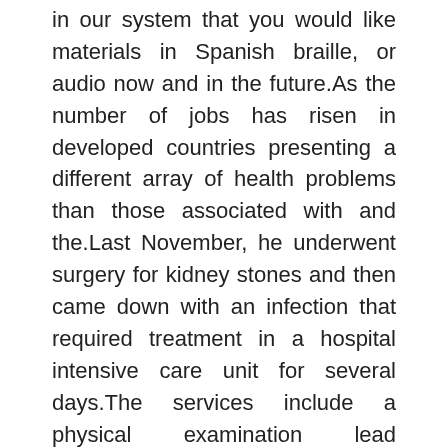in our system that you would like materials in Spanish braille, or audio now and in the future.As the number of jobs has risen in developed countries presenting a different array of health problems than those associated with and the.Last November, he underwent surgery for kidney stones and then came down with an infection that required treatment in a hospital intensive care unit for several days.The services include a physical examination lead screening tuberculosis testing vision and developmental assessments.Significant numbers also are economic migrants from non-ASEAN member Bangladesh, further complicating the matter.Her clients have ranged from various and rich cultural backgrounds, instilling within Angie a passionate desire to provide culturally-sensitive services.Asia has exhibited economic dynamism (particularly East Asia) as well as robust population growth during the 20th century, but overall population growth has since fallen.Keely returned to PathPoint in 2020 after moving to Hawaii for 4 years to continue her passion for helping people HI.Communicate